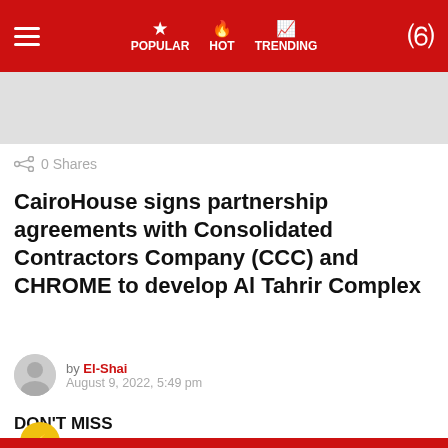POPULAR  HOT  TRENDING
[Figure (photo): Gray placeholder image at top]
0 Shares
CairoHouse signs partnership agreements with Consolidated Contractors Company (CCC) and CHROME to develop Al Tahrir Complex
by El-Shai
August 9, 2022, 5:49 pm
DON'T MISS
[Figure (photo): Gray placeholder card with yellow buzzfeed-style bolt badge]